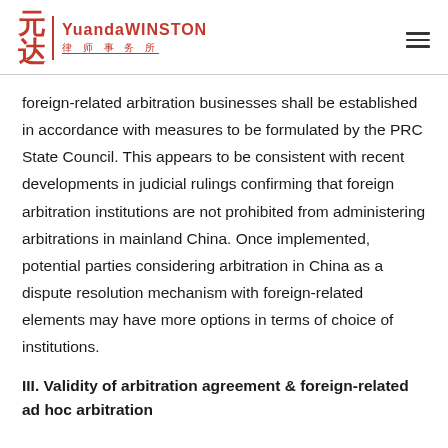YuandaWINSTON 律师事务所
foreign-related arbitration businesses shall be established in accordance with measures to be formulated by the PRC State Council. This appears to be consistent with recent developments in judicial rulings confirming that foreign arbitration institutions are not prohibited from administering arbitrations in mainland China. Once implemented, potential parties considering arbitration in China as a dispute resolution mechanism with foreign-related elements may have more options in terms of choice of institutions.
III. Validity of arbitration agreement & foreign-related ad hoc arbitration